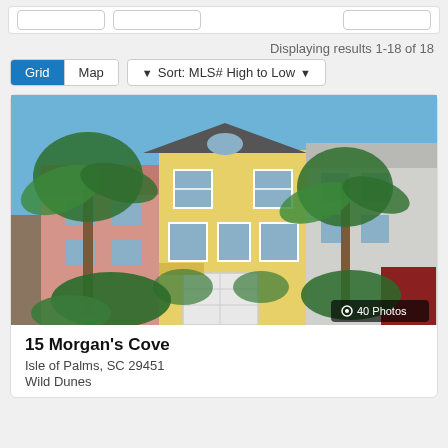Displaying results 1-18 of 18
Grid  Map  Sort: MLS# High to Low
[Figure (photo): Exterior photo of a yellow three-story beach house with palm trees in the foreground, white garage door, and neighboring houses visible on either side. Badge reads '40 Photos'.]
15 Morgan's Cove
Isle of Palms, SC 29451
Wild Dunes